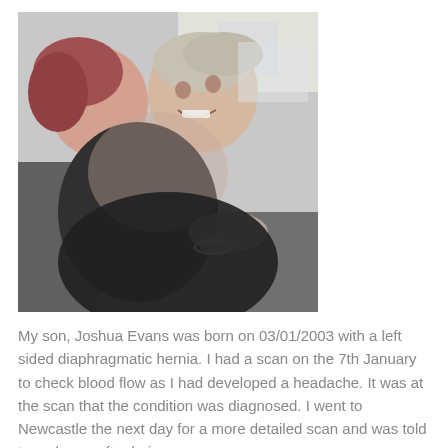[Figure (photo): A close-up photo of a woman and a young boy smiling and embracing, appearing to be a mother and son.]
My son, Joshua Evans was born on 03/01/2003 with a left sided diaphragmatic hernia. I had a scan on the 7th January to check blood flow as I had developed a headache. It was at the scan that the condition was diagnosed. I went to Newcastle the next day for a more detailed scan and was told to go home after being